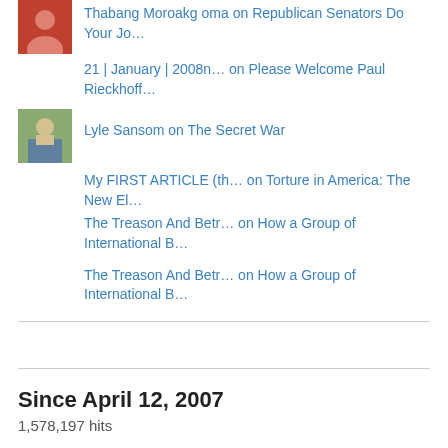Thabang Moroakg oma on Republican Senators Do Your Jo…
21 | January | 2008n… on Please Welcome Paul Rieckhoff…
Lyle Sansom on The Secret War
My FIRST ARTICLE (th… on Torture in America: The New El…
The Treason And Betr… on How a Group of International B…
The Treason And Betr… on How a Group of International B…
Since April 12, 2007
1,578,197 hits